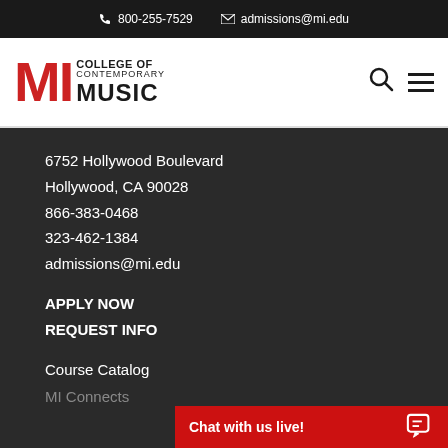800-255-7529   admissions@mi.edu
[Figure (logo): MI College of Contemporary Music logo with red MI letters and black text]
6752 Hollywood Boulevard
Hollywood, CA 90028
866-383-0468
323-462-1384
admissions@mi.edu
APPLY NOW
REQUEST INFO
Course Catalog
MI Connects
Graduation Cere...
Chat with us live!